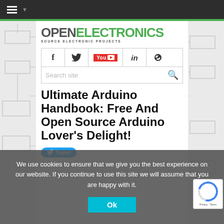Navigation bar with hamburger menu
[Figure (logo): OpenElectronics logo - OPEN in gray, ELECTRONICS in green, tagline SOURCE ELECTRONIC PROJECTS]
[Figure (screenshot): Social media icons bar: Facebook, Twitter, YouTube, LinkedIn, RSS feed]
[Figure (screenshot): Search site input field with magnifier icon]
Ultimate Arduino Handbook: Free And Open Source Arduino Lover's Delight!
[Figure (screenshot): Tweet button and share buttons row]
We use cookies to ensure that we give you the best experience on our website. If you continue to use this site we will assume that you are happy with it.
[Figure (screenshot): Ok button for cookie consent]